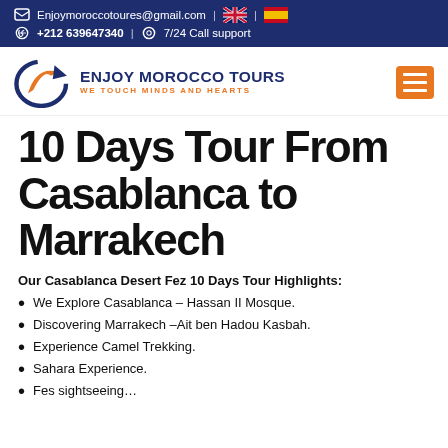Enjoymoroccotoures@gmail.com | +212 639647340 | 7/24 Call support
[Figure (logo): Enjoy Morocco Tours logo with blue and orange circular arrow graphic and text 'ENJOY MOROCCO TOURS / WE TOUCH MINDS AND HEARTS']
10 Days Tour From Casablanca to Marrakech
Our Casablanca Desert Fez 10 Days Tour Highlights:
We Explore Casablanca – Hassan II Mosque.
Discovering Marrakech – Ait ben Hadou Kasbah.
Experience Camel Trekking.
Sahara Experience.
Fes sightseeing…